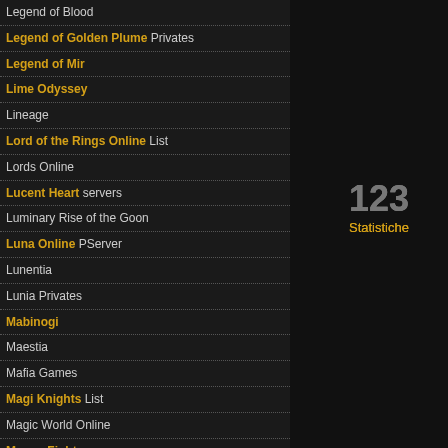Legend of Blood
Legend of Golden Plume Privates
Legend of Mir
Lime Odyssey
Lineage
Lord of the Rings Online List
Lords Online
Lucent Heart servers
Luminary Rise of the Goon
Luna Online PServer
Lunentia
Lunia Privates
Mabinogi
Maestia
Mafia Games
Magi Knights List
Magic World Online
Manga Fighter servers
Martial Heroes PServer
Megaten
Meridian 59 Privates
Minecraft
Minions of Mirth
Mir2
PVP | Creativ | Surival | SkyBlok | VIP | Survival G... Paintball | McMMo and more....
123 Statistiche
TravianXoX only! Server Speed :500x Troop Speed :500X 40 Gold ...
124 Statistiche
Twaria The World Best V3.6 onl... Twaria The World Best V3.6 With Many New Syst...
125 Statistiche
TraviaStar X3000 ! :) only! Stable and oldfasion .
126 Statistiche
First Travian T4.4 Super Speed (10... First Travian T4.4 Super Speed (10x-10000x) With... winners..